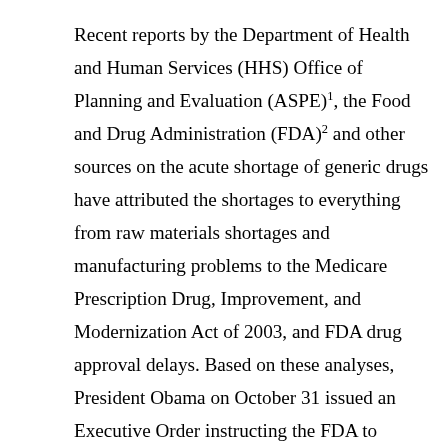Recent reports by the Department of Health and Human Services (HHS) Office of Planning and Evaluation (ASPE)1, the Food and Drug Administration (FDA)2 and other sources on the acute shortage of generic drugs have attributed the shortages to everything from raw materials shortages and manufacturing problems to the Medicare Prescription Drug, Improvement, and Modernization Act of 2003, and FDA drug approval delays. Based on these analyses, President Obama on October 31 issued an Executive Order instructing the FDA to require manufacturers to notify the agency of impending shortages, to expedite regulatory reviews, and to increase staff in its drug shortages program.
In this white paper, the authors argue that these explanations, and President Obama's Executive Order